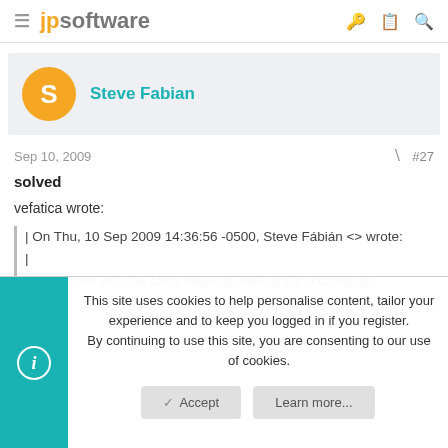jpsoftware
Steve Fabian
Sep 10, 2009  #27
solved
vefatica wrote:
| On Thu, 10 Sep 2009 14:36:56 -0500, Steve Fábián <> wrote:
|
|| I do agree with the OP's desire to have a list of currently
This site uses cookies to help personalise content, tailor your experience and to keep you logged in if you register.
By continuing to use this site, you are consenting to our use of cookies.